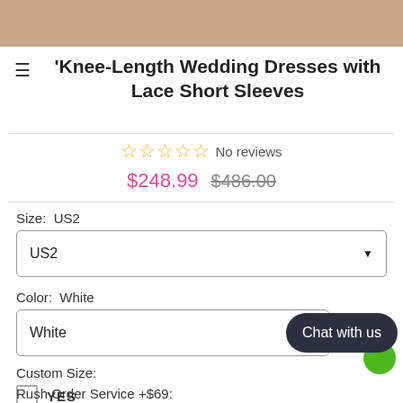[Figure (photo): Top cropped photo strip showing a person in a wedding dress, only feet/lower body visible at top of page]
Knee-Length Wedding Dresses with Lace Short Sleeves
No reviews
$248.99  $486.00
Size:  US2
US2
Color:  White
White
Custom Size:
YES
Rush Order Service +$69: